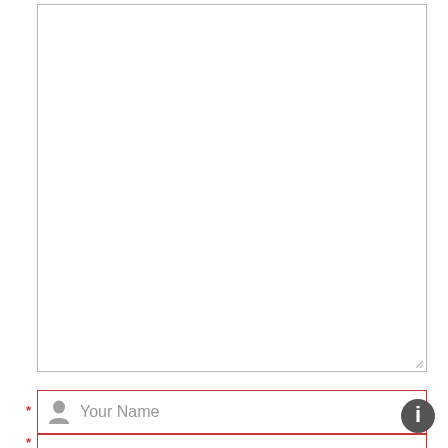[Figure (screenshot): Web form background with a large white textarea (resizable) and a name input field with red border and asterisk required marker, person icon, and 'Your Name' placeholder text. A modal dialog overlay is visible with title 'HOW DID YOU FIND US TODAY?' and a close X button. The modal lists three options: Internet Search, Friend/Family Referral, Walk-by/Drive-by. At the bottom of the modal is an 'Other (please specify)' text input and a black 'SUBMIT' button. An info icon appears at bottom right.]